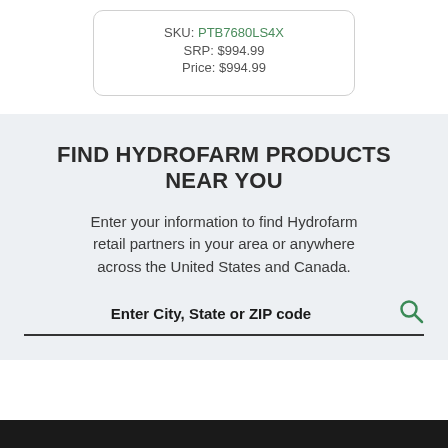SKU: PTB7680LS4X
SRP: $994.99
Price: $994.99
FIND HYDROFARM PRODUCTS NEAR YOU
Enter your information to find Hydrofarm retail partners in your area or anywhere across the United States and Canada.
Enter City, State or ZIP code